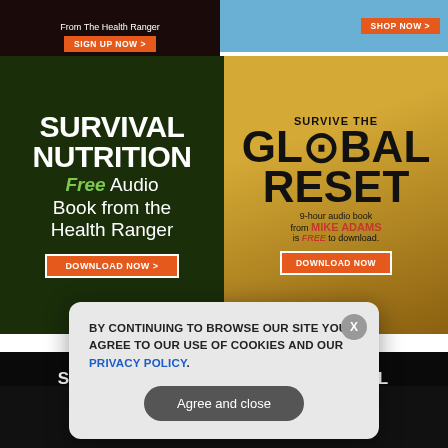[Figure (screenshot): Top-left advertisement: dark background with 'From The Health Ranger' text and orange SIGN UP NOW button]
[Figure (screenshot): Top-right advertisement: water/blue background with SHOP NOW orange button]
[Figure (screenshot): Left middle advertisement: Survival Nutrition - Free Audio Book from the Health Ranger with DOWNLOAD NOW orange button on dark green background]
[Figure (screenshot): Right middle advertisement: Survive the Global Reset - 9-hour audio book from Mike Adams is FREE to download, DOWNLOAD NOW button on golden background]
ADVERTISEMENTS
[Figure (screenshot): Dark subscribe section with SUBSCRIBE TO OUR FREE EMAIL heading, GET THE WORLD'S BEST INDEPENDENT MEDIA NEWSLETTER DELIVERED DIRECTLY TO YOUR INBOX text, email input and SUBSCRIBE button]
[Figure (screenshot): Cookie consent modal: BY CONTINUING TO BROWSE OUR SITE YOU AGREE TO OUR USE OF COOKIES AND OUR PRIVACY POLICY. Agree and close button]